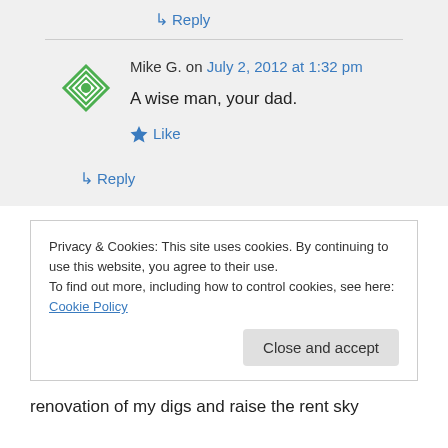↳ Reply
Mike G. on July 2, 2012 at 1:32 pm
A wise man, your dad.
★ Like
↳ Reply
Privacy & Cookies: This site uses cookies. By continuing to use this website, you agree to their use.
To find out more, including how to control cookies, see here: Cookie Policy
Close and accept
renovation of my digs and raise the rent sky